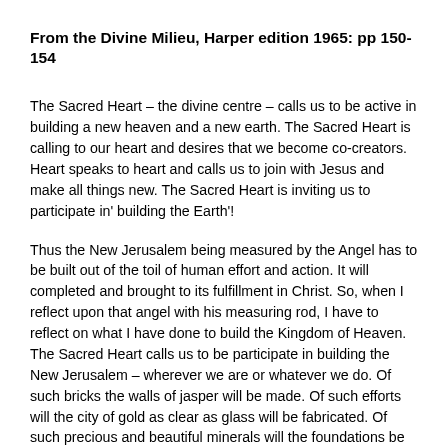From the Divine Milieu, Harper edition 1965: pp 150-154
The Sacred Heart – the divine centre – calls us to be active in building a new heaven and a new earth. The Sacred Heart is calling to our heart and desires that we become co-creators. Heart speaks to heart and calls us to join with Jesus and make all things new. The Sacred Heart is inviting us to participate in' building the Earth'!
Thus the New Jerusalem being measured by the Angel has to be built out of the toil of human effort and action. It will completed and brought to its fulfillment in Christ. So, when I reflect upon that angel with his measuring rod, I have to reflect on what I have done to build the Kingdom of Heaven. The Sacred Heart calls us to be participate in building the New Jerusalem – wherever we are or whatever we do. Of such bricks the walls of jasper will be made. Of such efforts will the city of gold as clear as glass will be fabricated. Of such precious and beautiful minerals will the foundations be